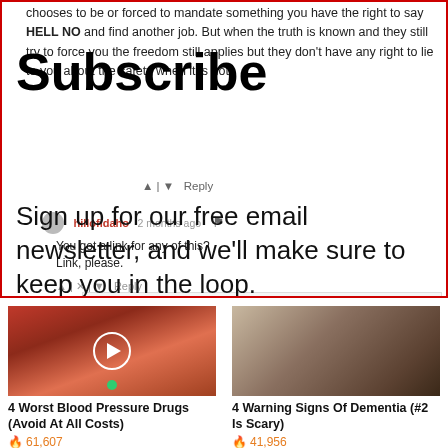chooses to be or forced to mandate something you have the right to say HELL NO and find another job. But when the truth is known and they still try to force you the freedom still applies but they don't have any right to lie to you about the safety when it is not.
Subscribe
Sign up for our free email newsletter, and we'll make sure to keep you in the loop.
First Name
Reply
hillofidaho · 2 months ago
You got a link for any of this? Link, please.
Reply
Promoted X
[Figure (photo): Close-up image of a mouth with tongue out and a green pill, with a play button overlay. Advertisement for health content.]
4 Worst Blood Pressure Drugs (Avoid At All Costs)
61,607
[Figure (photo): Photo of person sitting hunched over on a bed in a room. Advertisement for dementia warning signs.]
4 Warning Signs Of Dementia (#2 Is Scary)
41,956